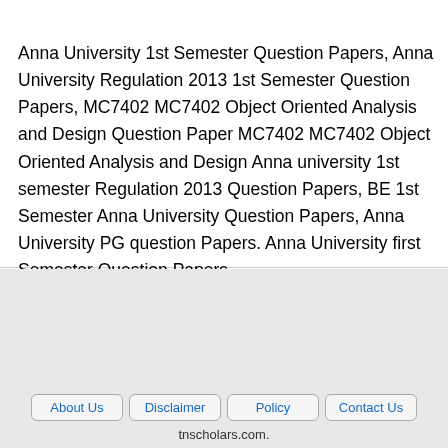Anna University 1st Semester Question Papers, Anna University Regulation 2013 1st Semester Question Papers, MC7402 MC7402 Object Oriented Analysis and Design Question Paper MC7402 MC7402 Object Oriented Analysis and Design Anna university 1st semester Regulation 2013 Question Papers, BE 1st Semester Anna University Question Papers, Anna University PG question Papers. Anna University first Semester Question Papers.
About Us  Disclaimer  Policy  Contact Us  tnscholars.com.